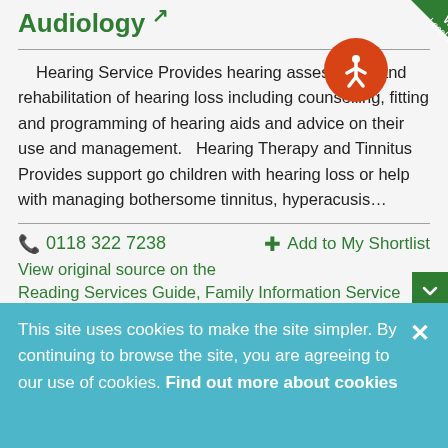Audiology
Hearing Service Provides hearing assessment and rehabilitation of hearing loss including counselling, fitting and programming of hearing aids and advice on their use and management.   Hearing Therapy and Tinnitus Provides support go children with hearing loss or help with managing bothersome tinnitus, hyperacusis…
0118 322 7238
Add to My Shortlist
View original source on the Reading Services Guide, Family Information Service
This site uses cookies to make the site simpler. By continuing to browse the site, you are agreeing to our use of cookies. Find out more about cookies